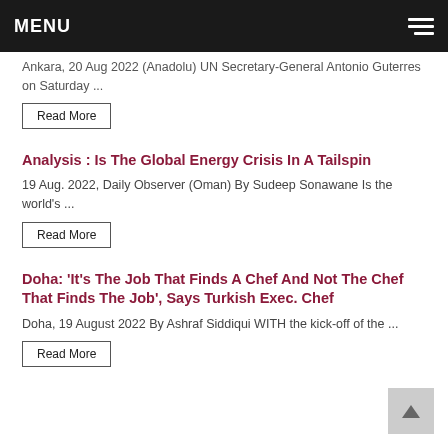MENU
Ankara, 20 Aug 2022 (Anadolu) UN Secretary-General Antonio Guterres on Saturday ...
Read More
Analysis : Is The Global Energy Crisis In A Tailspin
19 Aug. 2022, Daily Observer (Oman) By Sudeep Sonawane Is the world's ...
Read More
Doha: 'It's The Job That Finds A Chef And Not The Chef That Finds The Job', Says Turkish Exec. Chef
Doha, 19 August 2022 By Ashraf Siddiqui WITH the kick-off of the ...
Read More